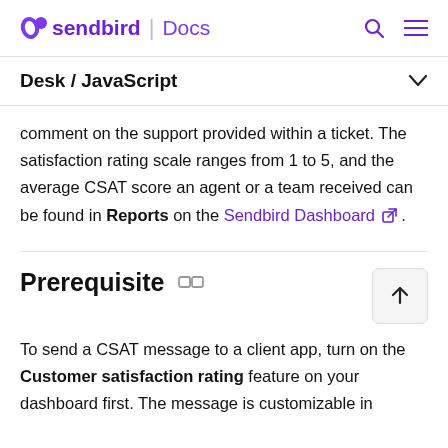sendbird | Docs
Desk / JavaScript
comment on the support provided within a ticket. The satisfaction rating scale ranges from 1 to 5, and the average CSAT score an agent or a team received can be found in Reports on the Sendbird Dashboard .
Prerequisite
To send a CSAT message to a client app, turn on the Customer satisfaction rating feature on your dashboard first. The message is customizable in